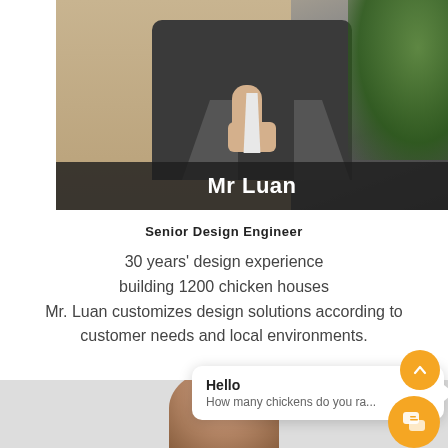[Figure (photo): Man in dark suit giving thumbs up, with plant in background. Name overlay bar at bottom reads 'Mr Luan'.]
Senior Design Engineer
30 years' design experience
building 1200 chicken houses
Mr. Luan customizes design solutions according to customer needs and local environments.
[Figure (screenshot): Chat popup widget showing 'Hello / How many chickens do you ra...' with orange chat button icon.]
[Figure (photo): Bottom strip showing top of another person's head/shoulders.]